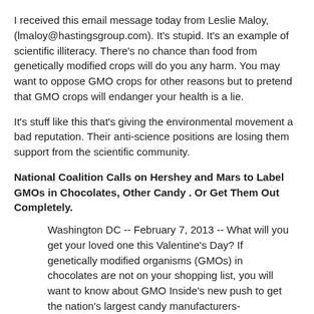I received this email message today from Leslie Maloy, (lmaloy@hastingsgroup.com). It's stupid. It's an example of scientific illiteracy. There's no chance than food from genetically modified crops will do you any harm. You may want to oppose GMO crops for other reasons but to pretend that GMO crops will endanger your health is a lie.
It's stuff like this that's giving the environmental movement a bad reputation. Their anti-science positions are losing them support from the scientific community.
National Coalition Calls on Hershey and Mars to Label GMOs in Chocolates, Other Candy . Or Get Them Out Completely.
Washington DC -- February 7, 2013 -- What will you get your loved one this Valentine's Day? If genetically modified organisms (GMOs) in chocolates are not on your shopping list, you will want to know about GMO Inside's new push to get the nation's largest candy manufacturers-